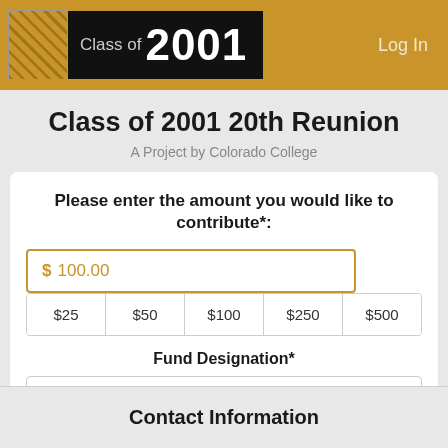Class of 2001 — Log In
Class of 2001 20th Reunion
A Project by Colorado College
Please enter the amount you would like to contribute*:
$ 100.00
$25  $50  $100  $250  $500
Fund Designation*
Annual Fund for Financial Aid
Contact Information